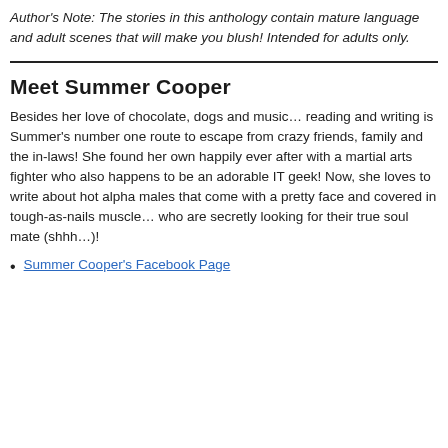Author's Note: The stories in this anthology contain mature language and adult scenes that will make you blush! Intended for adults only.
Meet Summer Cooper
Besides her love of chocolate, dogs and music… reading and writing is Summer's number one route to escape from crazy friends, family and the in-laws! She found her own happily ever after with a martial arts fighter who also happens to be an adorable IT geek! Now, she loves to write about hot alpha males that come with a pretty face and covered in tough-as-nails muscle… who are secretly looking for their true soul mate (shhh…)!
Summer Cooper's Facebook Page